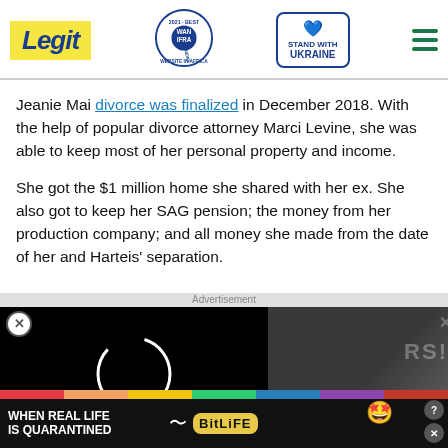Legit | WAN IFRA 2021 Best News Website in Africa | Stand with Ukraine
Jeanie Mai divorce was finalized in December 2018. With the help of popular divorce attorney Marci Levine, she was able to keep most of her personal property and income.
She got the $1 million home she shared with her ex. She also got to keep her SAG pension; the money from her production company; and all money she made from the date of her and Harteis' separation.
[Figure (screenshot): Advertisement overlay with video player showing loading circle on black background, and a side panel with 'RS!' text on dark background with chevron/arrow button]
[Figure (screenshot): Bottom banner advertisement for BitLife game with rainbow stripe, white text 'WHEN REAL LIFE IS QUARANTINED', BitLife logo, emoji mascot]